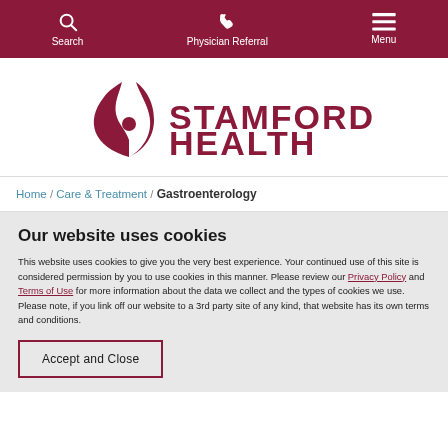Search | Physician Referral | Menu
[Figure (logo): Stamford Health logo with stylized flame/figure icon and bold text 'STAMFORD HEALTH']
Home / Care & Treatment / Gastroenterology
Our website uses cookies
This website uses cookies to give you the very best experience. Your continued use of this site is considered permission by you to use cookies in this manner. Please review our Privacy Policy and Terms of Use for more information about the data we collect and the types of cookies we use. Please note, if you link off our website to a 3rd party site of any kind, that website has its own terms and conditions.
Accept and Close